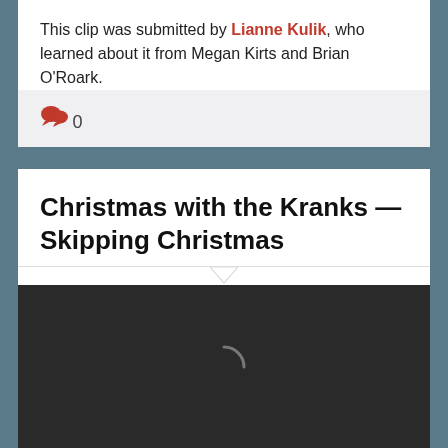This clip was submitted by Lianne Kulik, who learned about it from Megan Kirts and Brian O'Roark.
0
Christmas with the Kranks — Skipping Christmas
[Figure (screenshot): Dark video thumbnail with a loading spinner arc visible in the center]